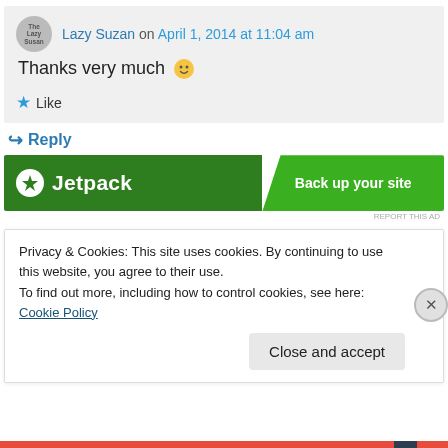Lazy Suzan on April 1, 2014 at 11:04 am
Thanks very much 🙂
Like
Reply
[Figure (other): Jetpack advertisement banner: dark green background with Jetpack logo and text, right side lighter green with 'Back up your site' CTA]
REPORT THIS AD
Privacy & Cookies: This site uses cookies. By continuing to use this website, you agree to their use.
To find out more, including how to control cookies, see here: Cookie Policy
Close and accept